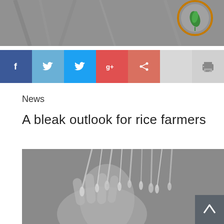[Figure (photo): Black and white close-up photo of rice plant stalks with a circular logo/emblem with orange border and green design in the top right corner]
[Figure (infographic): Social sharing button bar with Facebook (dark blue), Twitter light blue, Twitter blue, Google+ red, LinkedIn/share salmon-red, Save grey, and Print grey buttons]
News
A bleak outlook for rice farmers
[Figure (photo): Black and white close-up photograph of a weathered hand holding rice stalks with grain heads]